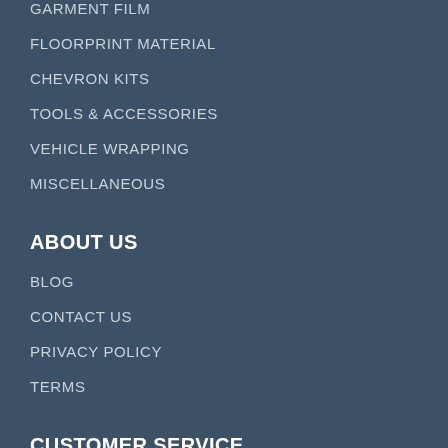GARMENT FILM
FLOORPRINT MATERIAL
CHEVRON KITS
TOOLS & ACCESSORIES
VEHICLE WRAPPING
MISCELLANEOUS
ABOUT US
BLOG
CONTACT US
PRIVACY POLICY
TERMS
CUSTOMER SERVICE